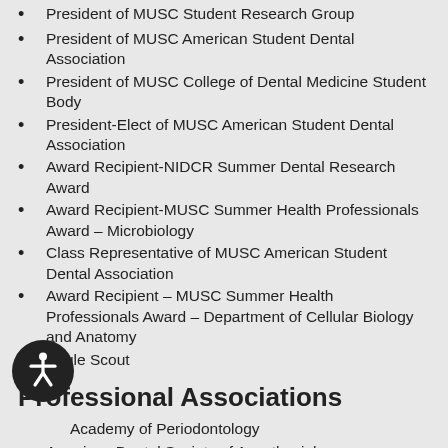President of MUSC Student Research Group
President of MUSC American Student Dental Association
President of MUSC College of Dental Medicine Student Body
President-Elect of MUSC American Student Dental Association
Award Recipient-NIDCR Summer Dental Research Award
Award Recipient-MUSC Summer Health Professionals Award – Microbiology
Class Representative of MUSC American Student Dental Association
Award Recipient – MUSC Summer Health Professionals Award – Department of Cellular Biology and Anatomy
Eagle Scout
Professional Associations
Academy of Periodontology
American Dental Society of Anesthesiology